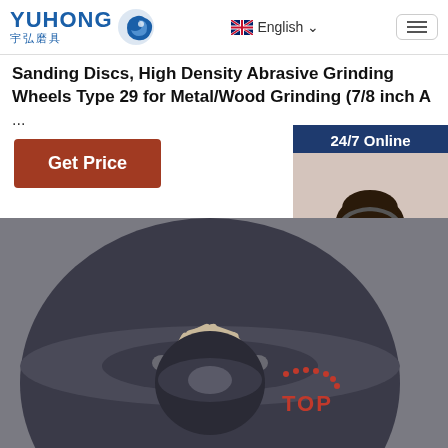YUHONG 宇弘磨具 — English
Sanding Discs, High Density Abrasive Grinding Wheels Type 29 for Metal/Wood Grinding (7/8 inch A...
Get Price
[Figure (photo): Customer service representative with headset, smiling. Dark navy background with '24/7 Online' header text, 'Click here for free chat!' text, and orange QUOTATION button.]
[Figure (photo): Diamond grinding wheel cup disc with double row segments on dark steel body, viewed from above at slight angle, showing circular holes and beige/tan abrasive segments.]